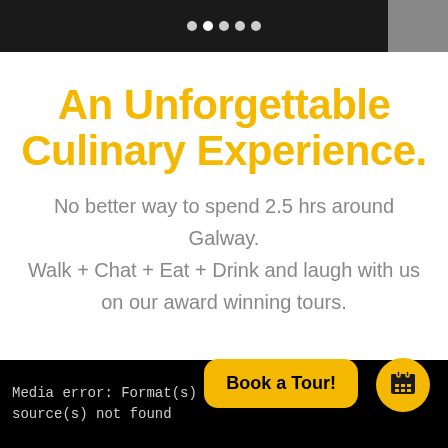[Figure (screenshot): Top dark image bar with navigation dots and a partial image in the top-right corner]
An Unforgettable Culinary Experience.
No better way to spend 2.5 hrs around Galway.
Walk + Chat + Eat + Drink and laugh with us on our award winning tours.
[Figure (screenshot): Black bar at the bottom showing a media error message: 'Media error: Format(s) not supported or source(s) not found', with a yellow 'Book a Tour!' button and a yellow calendar icon button overlaid on top]